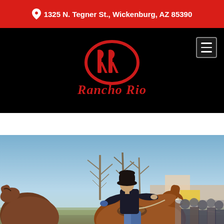1325 N. Tegner St., Wickenburg, AZ 85390
[Figure (logo): Rancho Rio logo — double-R emblem inside an oval ring with 'Rancho Rio' script text below, in red on black background]
[Figure (photo): Cowboy in black hat and jacket riding a brown horse at a rodeo event in Wickenburg, AZ, with additional horses and crowd visible in background]